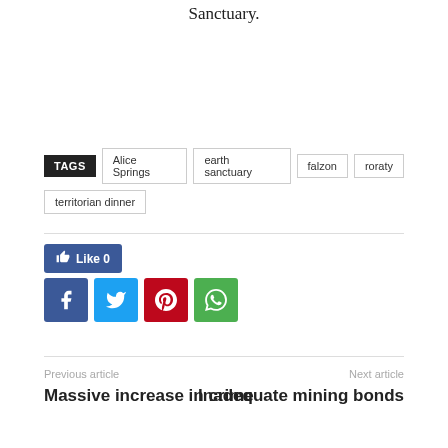Sanctuary.
TAGS  Alice Springs  earth sanctuary  falzon  roraty  territorian dinner
[Figure (other): Facebook Like button showing 0 likes, and social sharing icons for Facebook, Twitter, Pinterest, and WhatsApp]
Previous article
Massive increase in crime
Next article
Inadequate mining bonds